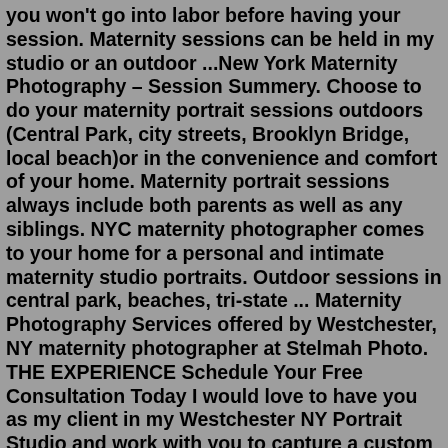you won't go into labor before having your session. Maternity sessions can be held in my studio or an outdoor ...New York Maternity Photography – Session Summery. Choose to do your maternity portrait sessions outdoors (Central Park, city streets, Brooklyn Bridge, local beach)or in the convenience and comfort of your home. Maternity portrait sessions always include both parents as well as any siblings. NYC maternity photographer comes to your home for a personal and intimate maternity studio portraits. Outdoor sessions in central park, beaches, tri-state ... Maternity Photography Services offered by Westchester, NY maternity photographer at Stelmah Photo. THE EXPERIENCE Schedule Your Free Consultation Today I would love to have you as my client in my Westchester NY Portrait Studio and work with you to capture a custom session for you.NYC maternity photographer, Diego Molina specializes in capturing one of your family's most iconic moments. http://goo.gl/S6fgIyhttp://www.diegomolinaphoto... NY